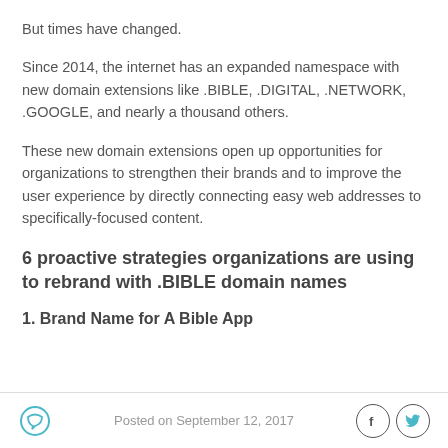But times have changed.
Since 2014, the internet has an expanded namespace with new domain extensions like .BIBLE, .DIGITAL, .NETWORK, .GOOGLE, and nearly a thousand others.
These new domain extensions open up opportunities for organizations to strengthen their brands and to improve the user experience by directly connecting easy web addresses to specifically-focused content.
6 proactive strategies organizations are using to rebrand with .BIBLE domain names
1. Brand Name for A Bible App
Posted on September 12, 2017